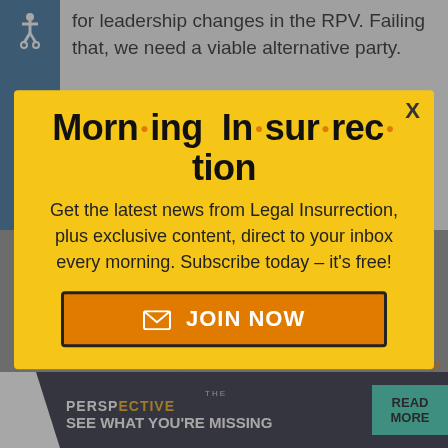for leadership changes in the RPV. Failing that, we need a viable alternative party.
Now the Commonwealth will be wealth
[Figure (infographic): Morning Insurrection newsletter signup modal popup with yellow background. Title reads 'Morn·ing In·sur·rec·tion' with orange dots. Body text: 'Get the latest news from Legal Insurrection, plus exclusive content, direct to your inbox every morning. Subscribe today – it's free!' with a JOIN NOW button.]
Evan Rand P... isn't a 3rd part...
For MANY re...ns.
[Figure (infographic): Bottom advertisement banner: THE PERSPECTIVE - SEE WHAT YOU'RE MISSING - READ MORE]
stevewhitenu | November 6, 2015 at